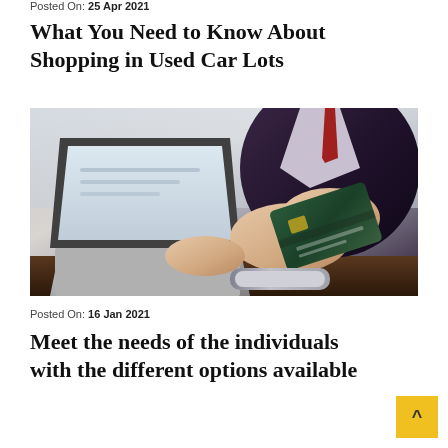Posted On: 25 Apr 2021
What You Need to Know About Shopping in Used Car Lots
[Figure (photo): Person in dark suit typing on laptop while holding a green credit card, with a smartphone on a dark wooden desk]
Posted On: 16 Jan 2021
Meet the needs of the individuals with the different options available